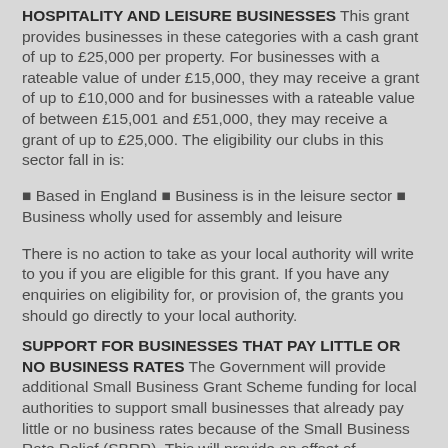HOSPITALITY AND LEISURE BUSINESSES This grant provides businesses in these categories with a cash grant of up to £25,000 per property. For businesses with a rateable value of under £15,000, they may receive a grant of up to £10,000 and for businesses with a rateable value of between £15,001 and £51,000, they may receive a grant of up to £25,000. The eligibility our clubs in this sector fall in is:
Based in England ▪ Business is in the leisure sector ▪ Business wholly used for assembly and leisure
There is no action to take as your local authority will write to you if you are eligible for this grant. If you have any enquiries on eligibility for, or provision of, the grants you should go directly to your local authority.
SUPPORT FOR BUSINESSES THAT PAY LITTLE OR NO BUSINESS RATES The Government will provide additional Small Business Grant Scheme funding for local authorities to support small businesses that already pay little or no business rates because of the Small Business Rate Relief (SBRR). This will provide an offset of...